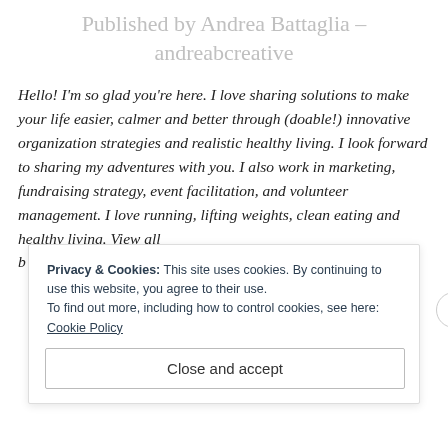Published by Andrea Battaglia - andreabcreative
Hello! I'm so glad you're here. I love sharing solutions to make your life easier, calmer and better through (doable!) innovative organization strategies and realistic healthy living. I look forward to sharing my adventures with you. I also work in marketing, fundraising strategy, event facilitation, and volunteer management. I love running, lifting weights, clean eating and healthy living. View all
Privacy & Cookies: This site uses cookies. By continuing to use this website, you agree to their use. To find out more, including how to control cookies, see here: Cookie Policy
Close and accept